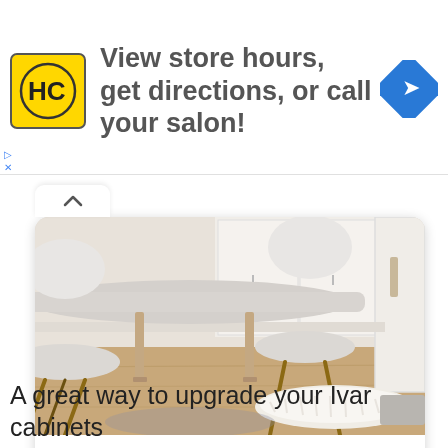[Figure (infographic): Advertisement banner with HC (Hair Club) yellow logo on left, text 'View store hours, get directions, or call your salon!' in center, blue navigation arrow icon on right]
[Figure (photo): Interior photo showing a modern dining area with white/grey table and Eames-style chairs with wooden legs, white cabinets in background, hardwood floor, fluffy white rug]
DIY Stauraumwunder aus Ivar
[Figure (logo): Small feather/leaf logo icon for studiovea]
studiovea
DIY Stauraumwunder aus Ivar | Ikea Hack | Ivar Hack | S...
A great way to upgrade your Ivar cabinets